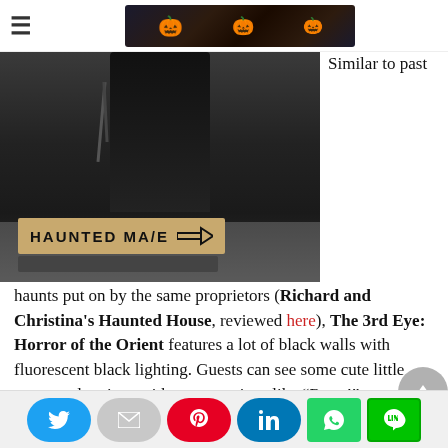≡ [Halloween banner with pumpkins]
[Figure (photo): Dark photo of a haunted maze entrance with a person in black costume and a wooden sign reading HAUNTED MAZE with an arrow pointing right]
Similar to past haunts put on by the same proprietors (Richard and Christina's Haunted House, reviewed here), The 3rd Eye: Horror of the Orient features a lot of black walls with fluorescent black lighting. Guests can see some cute little monster drawings with corny sayings like “Rawr!”